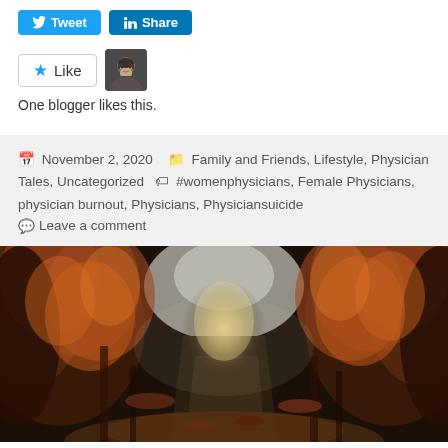[Figure (illustration): Social sharing buttons: Twitter button (blue) and LinkedIn button (blue) at top of page]
[Figure (illustration): Like button with star icon and a blogger avatar thumbnail (bearded man photo)]
One blogger likes this.
November 2, 2020  Family and Friends, Lifestyle, Physician Tales, Uncategorized  #womenphysicians, Female Physicians, physician burnout, Physicians, Physiciansuicide
Leave a comment
[Figure (photo): Autumn forest path with orange and red leaves, misty light at the end of the tunnel of trees, fallen leaves on the ground]